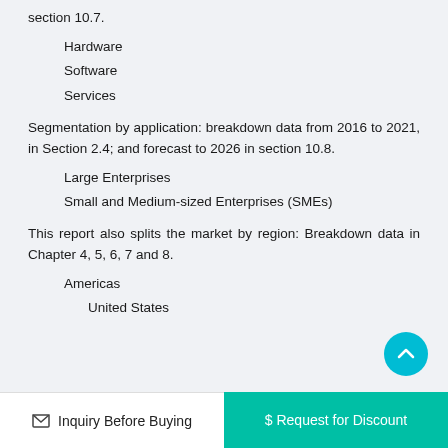section 10.7.
Hardware
Software
Services
Segmentation by application: breakdown data from 2016 to 2021, in Section 2.4; and forecast to 2026 in section 10.8.
Large Enterprises
Small and Medium-sized Enterprises (SMEs)
This report also splits the market by region: Breakdown data in Chapter 4, 5, 6, 7 and 8.
Americas
United States
Inquiry Before Buying | $ Request for Discount